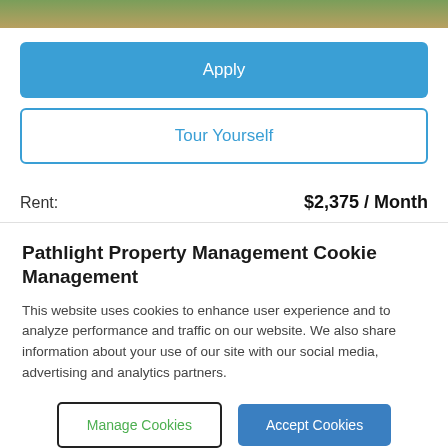[Figure (photo): Partial outdoor/nature photo visible at top of page]
Apply
Tour Yourself
Rent: $2,375 / Month
Pathlight Property Management Cookie Management
This website uses cookies to enhance user experience and to analyze performance and traffic on our website. We also share information about your use of our site with our social media, advertising and analytics partners.
Manage Cookies
Accept Cookies